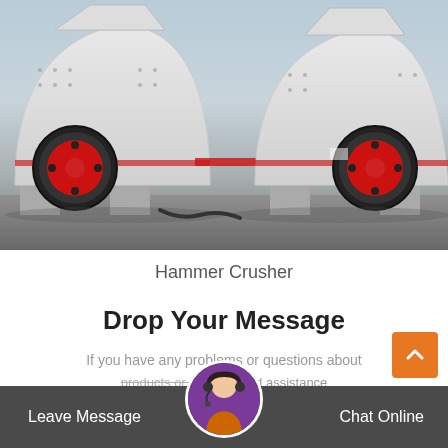[Figure (photo): Two large white industrial hammer crusher machines with black and red flywheel wheels, photographed outdoors in a factory/industrial yard.]
Hammer Crusher
Drop Your Message
If you have any problems or questions about products or need our support and assistance please contact us and you will be replied within 24
Leave Message   Chat Online